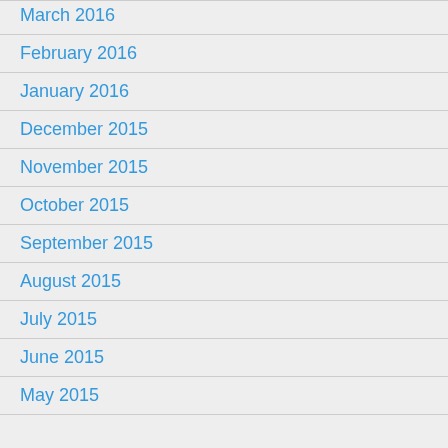March 2016
February 2016
January 2016
December 2015
November 2015
October 2015
September 2015
August 2015
July 2015
June 2015
May 2015